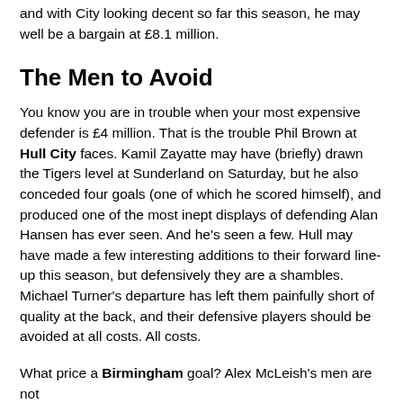and with City looking decent so far this season, he may well be a bargain at £8.1 million.
The Men to Avoid
You know you are in trouble when your most expensive defender is £4 million. That is the trouble Phil Brown at Hull City faces. Kamil Zayatte may have (briefly) drawn the Tigers level at Sunderland on Saturday, but he also conceded four goals (one of which he scored himself), and produced one of the most inept displays of defending Alan Hansen has ever seen. And he's seen a few. Hull may have made a few interesting additions to their forward line-up this season, but defensively they are a shambles. Michael Turner's departure has left them painfully short of quality at the back, and their defensive players should be avoided at all costs. All costs.
What price a Birmingham goal? Alex McLeish's men are not